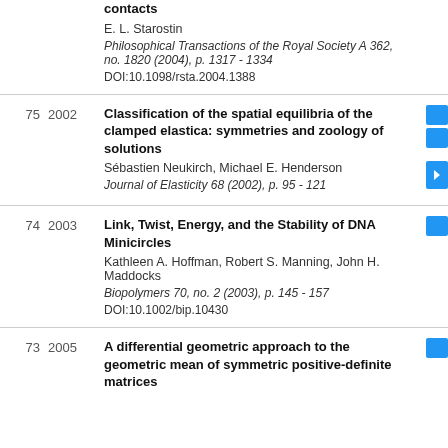contacts
E. L. Starostin
Philosophical Transactions of the Royal Society A 362, no. 1820 (2004), p. 1317 - 1334
DOI:10.1098/rsta.2004.1388
75 2002 Classification of the spatial equilibria of the clamped elastica: symmetries and zoology of solutions
Sébastien Neukirch, Michael E. Henderson
Journal of Elasticity 68 (2002), p. 95 - 121
74 2003 Link, Twist, Energy, and the Stability of DNA Minicircles
Kathleen A. Hoffman, Robert S. Manning, John H. Maddocks
Biopolymers 70, no. 2 (2003), p. 145 - 157
DOI:10.1002/bip.10430
73 2005 A differential geometric approach to the geometric mean of symmetric positive-definite matrices